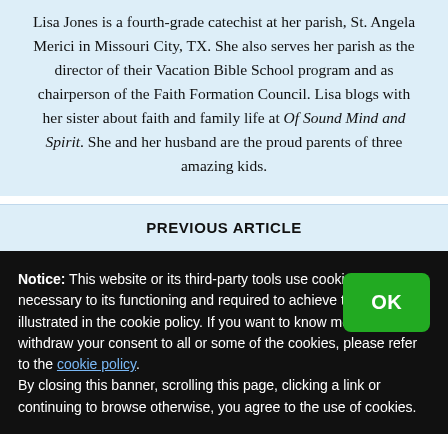Lisa Jones is a fourth-grade catechist at her parish, St. Angela Merici in Missouri City, TX. She also serves her parish as the director of their Vacation Bible School program and as chairperson of the Faith Formation Council. Lisa blogs with her sister about faith and family life at Of Sound Mind and Spirit. She and her husband are the proud parents of three amazing kids.
PREVIOUS ARTICLE
Notice: This website or its third-party tools use cookies, which are necessary to its functioning and required to achieve the purposes illustrated in the cookie policy. If you want to know more or withdraw your consent to all or some of the cookies, please refer to the cookie policy. By closing this banner, scrolling this page, clicking a link or continuing to browse otherwise, you agree to the use of cookies.